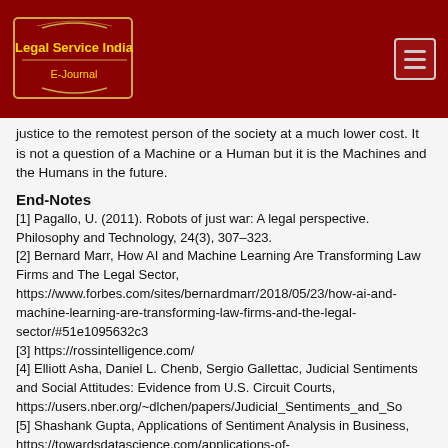[Figure (logo): Legal Service India E-Journal logo on dark red header bar with hamburger menu button]
justice to the remotest person of the society at a much lower cost. It is not a question of a Machine or a Human but it is the Machines and the Humans in the future.
End-Notes
[1] Pagallo, U. (2011). Robots of just war: A legal perspective. Philosophy and Technology, 24(3), 307–323.
[2] Bernard Marr, How AI and Machine Learning Are Transforming Law Firms and The Legal Sector, https://www.forbes.com/sites/bernardmarr/2018/05/23/how-ai-and-machine-learning-are-transforming-law-firms-and-the-legal-sector/#51e1095632c3
[3] https://rossintelligence.com/
[4] Elliott Asha, Daniel L. Chenb, Sergio Gallettac, Judicial Sentiments and Social Attitudes: Evidence from U.S. Circuit Courts, https://users.nber.org/~dlchen/papers/Judicial_Sentiments_and_So
[5] Shashank Gupta, Applications of Sentiment Analysis in Business, https://towardsdatascience.com/applications-of-